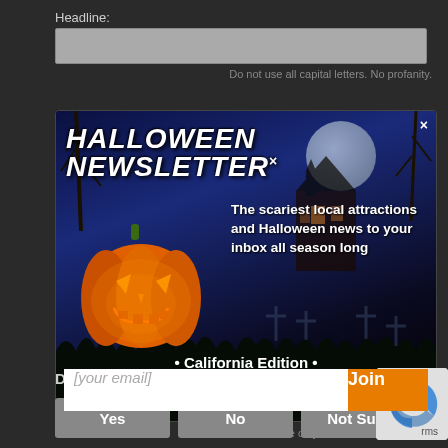Headline:
Do not use all capital letters. No profanity.
[Figure (screenshot): Halloween Newsletter popup modal with dark blue/black background, glowing pumpkin, haunted house, moon, graveyard silhouettes. Title 'HALLOWEEN NEWSLETTER' in white italic bold. Description text: 'The scariest local attractions and Halloween news to your inbox all season long'. Subtitle '• California Edition •'. Email input field with placeholder '[your email]' and orange 'Join' button.]
Administrative use only. Will NOT be displayed
Did You Have a Paranormal Experience?
Yes
No
Not Sure